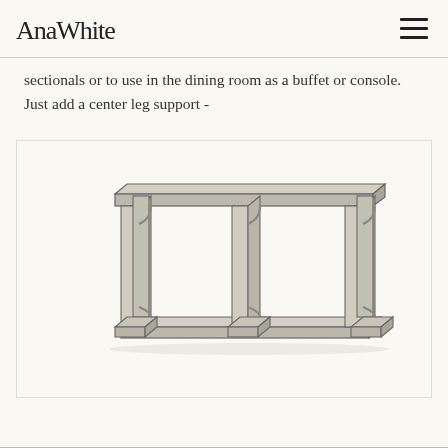AnaWhite
sectionals or to use in the dining room as a buffet or console.  Just add a center leg support -
[Figure (illustration): Technical sketch/illustration of a farmhouse-style console table or sofa table with two shelves, four legs with decorative brackets, and a center leg support. Drawn in pencil/ink sketch style with light gray shading on the wooden surfaces.]